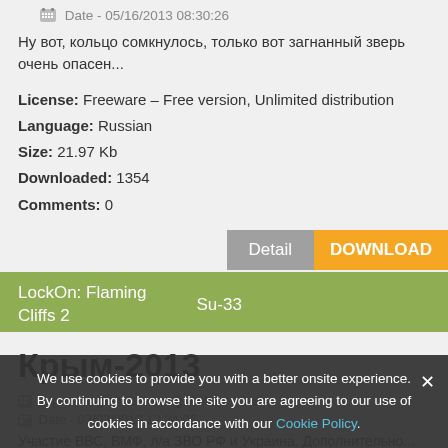Date - 05/16/2013 08:30:26
Ну вот, кольцо сомкнулось, только вот загнанный зверь очень опасен...
License: Freeware – Free version, Unlimited distribution
Language: Russian
Size: 21.97 Kb
Downloaded: 1354
Comments: 0
Detail | DOWNLOAD
LockOn: Flaming Cliffs 2    Su-33
Крым-2013
Type - Single mission    Author - tiesto
Date - 03/03/2013 12:34:06
Участие ВВС, ВМФ, л/а ЗВО РФ и Украина. Дополнительно...
We use cookies to provide you with a better onsite experience. By continuing to browse the site you are agreeing to our use of cookies in accordance with our Cookie Policy.